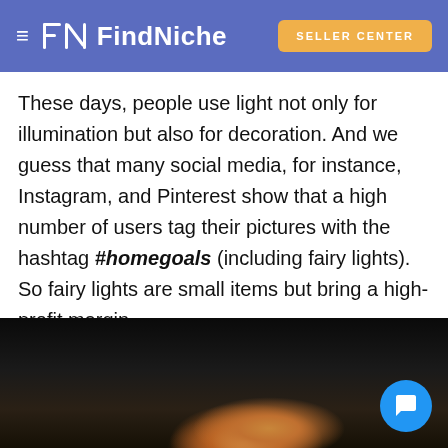FindNiche — SELLER CENTER
These days, people use light not only for illumination but also for decoration. And we guess that many social media, for instance, Instagram, and Pinterest show that a high number of users tag their pictures with the hashtag #homegoals (including fairy lights). So fairy lights are small items but bring a high-profit margin.
Bamboo Toothbrushes
[Figure (photo): Dark background photo showing colorful bamboo toothbrushes, partially visible at the bottom of the frame.]